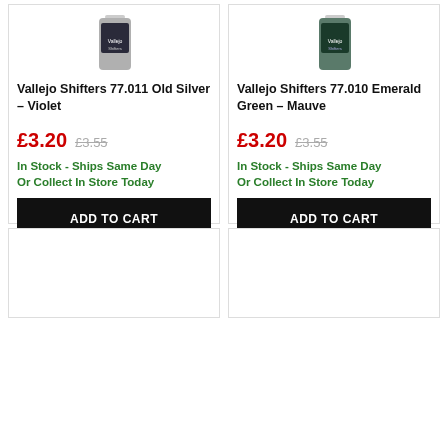[Figure (photo): Product image of Vallejo Shifters 77.011 Old Silver - Violet paint bottle]
Vallejo Shifters 77.011 Old Silver – Violet
£3.20  £3.55
In Stock - Ships Same Day
Or Collect In Store Today
ADD TO CART
[Figure (photo): Product image of Vallejo Shifters 77.010 Emerald Green - Mauve paint bottle]
Vallejo Shifters 77.010 Emerald Green – Mauve
£3.20  £3.55
In Stock - Ships Same Day
Or Collect In Store Today
ADD TO CART